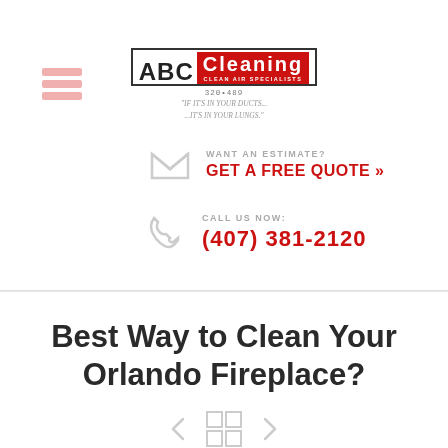[Figure (logo): ABC Cleaning logo with red background, tagline 'If it's in your ducts... ...it's in your lungs.']
WANT AN ESTIMATE?
GET A FREE QUOTE »
CALL US NOW:
(407) 381-2120
Best Way to Clean Your Orlando Fireplace?